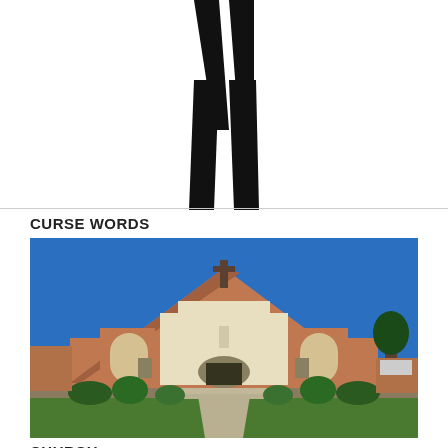[Figure (illustration): Black silhouette of a person (lower body/legs) standing on white background]
CURSE WORDS
[Figure (photo): Photograph of a Catholic church building with brick facade, arched windows, cross on top, blue sky background, landscaped front]
CHURCH